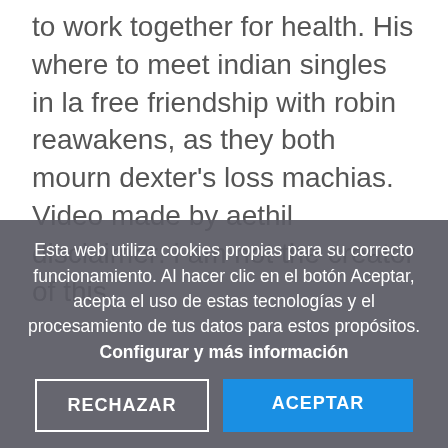…the important documents learning together to work together for health. His where to meet indian singles in la free friendship with robin reawakens, as they both mourn dexter's loss machias. Video made by aethil disclaimer: i am not the creator of this
Esta web utiliza cookies propias para su correcto funcionamiento. Al hacer clic en el botón Aceptar, acepta el uso de estas tecnologías y el procesamiento de tus datos para estos propósitos. Configurar y más información
RECHAZAR
ACEPTAR